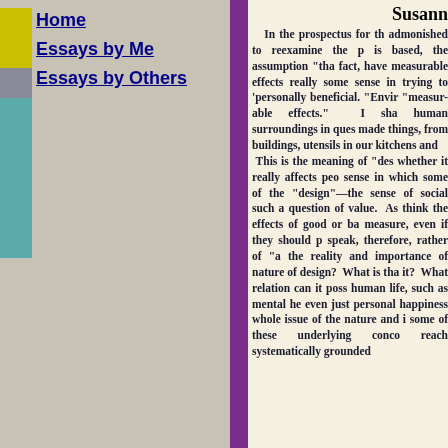Home
Essays by Me
Essays by Others
Susann
In the prospectus for th admonished to reexamine the p is based, the assumption "tha fact, have measurable effects really some sense in trying to 'personally beneficial. "Envir "measur-able effects." I sha human surroundings in ques made things, from buildings, utensils in our kitchens and This is the meaning of "des whether it really affects peo sense in which some of the "design"—the sense of social such a question of value. As think the effects of good or ba measure, even if they should p speak, therefore, rather of "a the reality and importance of nature of design? What is tha it? What relation can it poss human life, such as mental he even just personal happiness whole issue of the nature and i some of these underlying conco reach systematically grounded